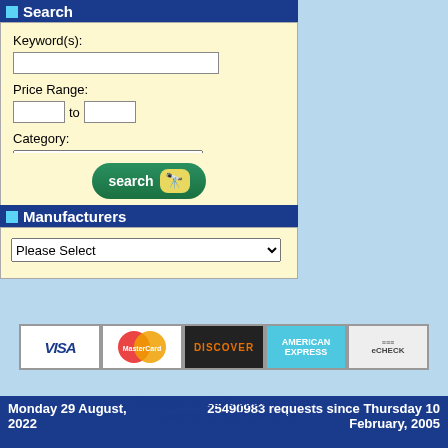Search
Keyword(s): Price Range: to Category: Any
[Figure (screenshot): Search button with binoculars icon on teal/green rounded button]
Manufacturers
Please Select
Monday 29 August, 2022     25490983 requests since Thursday 10 February, 2005
[Figure (other): Payment method icons: Visa, MasterCard, Discover, Amex, eCheck]
Copyright © 2003 osCommerce
Powered by osCommerce